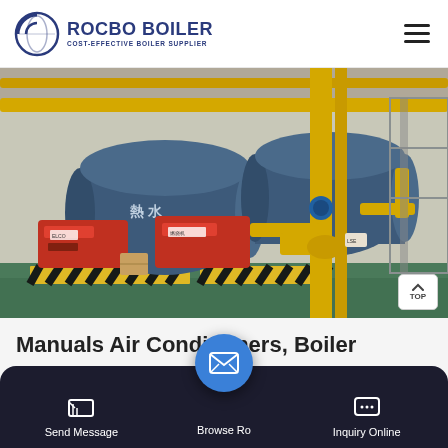ROCBO BOILER — COST-EFFECTIVE BOILER SUPPLIER
[Figure (photo): Industrial boiler room with large blue cylindrical boilers, red burner units, yellow piping and safety striped hazard barriers on floor]
Manuals Air Conditioners, Boiler Manuals, Furnace Manuals
Send Message | Browse Ro... | Inquiry Online